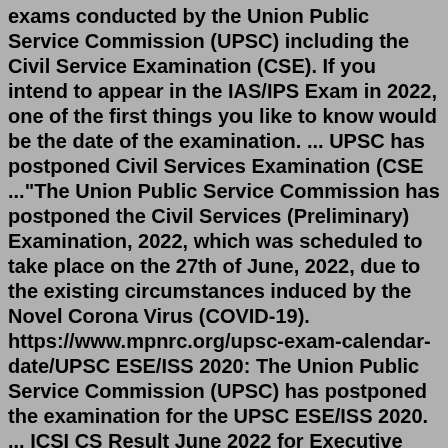exams conducted by the Union Public Service Commission (UPSC) including the Civil Service Examination (CSE). If you intend to appear in the IAS/IPS Exam in 2022, one of the first things you like to know would be the date of the examination. ... UPSC has postponed Civil Services Examination (CSE ..."The Union Public Service Commission has postponed the Civil Services (Preliminary) Examination, 2022, which was scheduled to take place on the 27th of June, 2022, due to the existing circumstances induced by the Novel Corona Virus (COVID-19). https://www.mpnrc.org/upsc-exam-calendar-date/UPSC ESE/ISS 2020: The Union Public Service Commission (UPSC) has postponed the examination for the UPSC ESE/ISS 2020. ... ICSI CS Result June 2022 for Executive and Professional Courses to be Out Tomorrow, Steps to Check Here ... along with the latest notifications, on Admit Card, Answer Key, Counselling dates and Career/ Exam Preparation tips ...OPSC ASO revised exam date on August 27, here's what officials said. The exam was